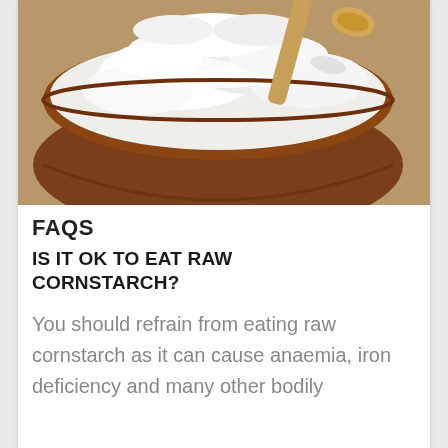[Figure (photo): A brown ceramic bowl filled with white cornstarch powder, with a wooden spoon resting in it, photographed from above at a slight angle.]
FAQS
IS IT OK TO EAT RAW CORNSTARCH?
You should refrain from eating raw cornstarch as it can cause anaemia, iron deficiency and many other bodily